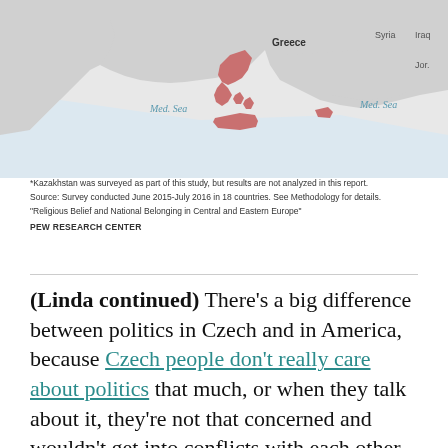[Figure (map): Map of Central and Eastern Europe and surrounding Mediterranean region, with Greece and nearby areas highlighted in pink/red. Labels include 'Greece', 'Med. Sea' (twice), 'Syria', 'Iraq', 'Jor.']
*Kazakhstan was surveyed as part of this study, but results are not analyzed in this report.
Source: Survey conducted June 2015-July 2016 in 18 countries. See Methodology for details.
"Religious Belief and National Belonging in Central and Eastern Europe"
PEW RESEARCH CENTER
(Linda continued) There’s a big difference between politics in Czech and in America, because Czech people don’t really care about politics that much, or when they talk about it, they’re not that concerned and wouldn’t get into conflicts with each other.
(At this point, a colleague chimes in to disagree with this, saying that she knows